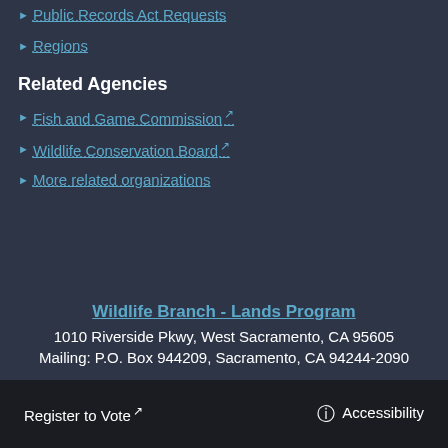Public Records Act Requests
Regions
Related Agencies
Fish and Game Commission
Wildlife Conservation Board
More related organizations
Wildlife Branch - Lands Program
1010 Riverside Pkwy, West Sacramento, CA 95605
Mailing: P.O. Box 944209, Sacramento, CA 94244-2090
Register to Vote  Accessibility